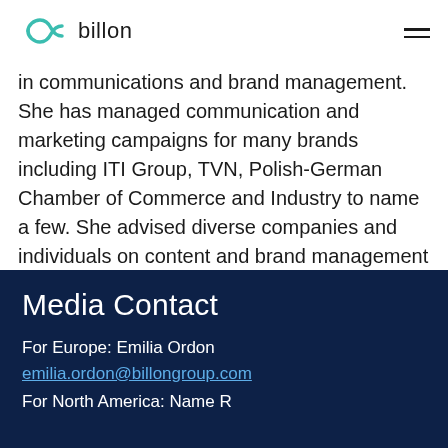billon
in communications and brand management. She has managed communication and marketing campaigns for many brands including ITI Group, TVN, Polish-German Chamber of Commerce and Industry to name a few. She advised diverse companies and individuals on content and brand management and the creation of engaging client communication.
Media Contact
For Europe: Emilia Ordon
emilia.ordon@billongroup.com
For North America: Name R...